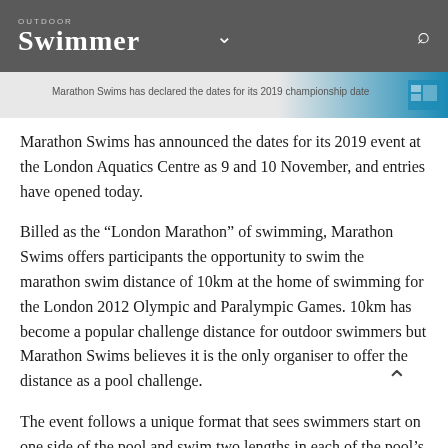OUTDOOR Swimmer
[Figure (screenshot): Partial image strip showing a blurred banner image with blue section on the right]
Marathon Swims has announced the dates for its 2019 event at the London Aquatics Centre as 9 and 10 November, and entries have opened today.
Billed as the “London Marathon” of swimming, Marathon Swims offers participants the opportunity to swim the marathon swim distance of 10km at the home of swimming for the London 2012 Olympic and Paralympic Games. 10km has become a popular challenge distance for outdoor swimmers but Marathon Swims believes it is the only organiser to offer the distance as a pool challenge.
The event follows a unique format that sees swimmers start on one side of the pool and swim two lengths in each of the pool’s 10 lanes to complete a kilometre.